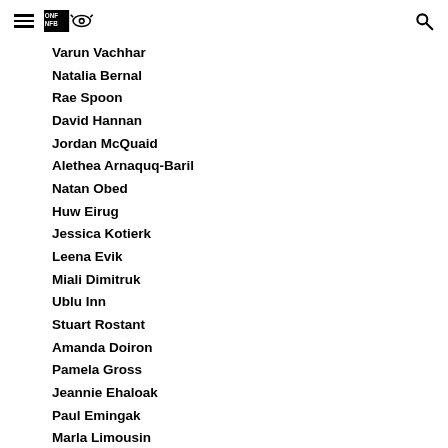[Navigation header with hamburger menu, ONF/NFB logo, and search icon]
Varun Vachhar
Natalia Bernal
Rae Spoon
David Hannan
Jordan McQuaid
Alethea Arnaquq-Baril
Natan Obed
Huw Eirug
Jessica Kotierk
Leena Evik
Miali Dimitruk
Ublu Inn
Stuart Rostant
Amanda Doiron
Pamela Gross
Jeannie Ehaloak
Paul Emingak
Marla Limousin
Trinity St Paul Church
Sean O'Neill